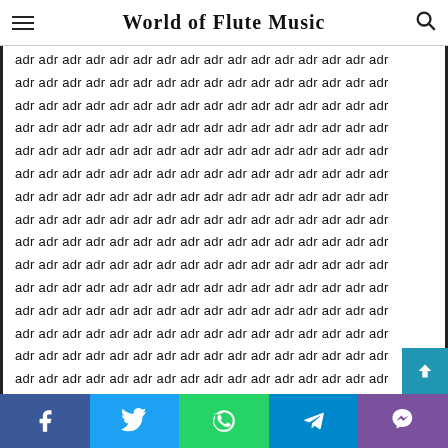World of Flute Music
adr adr adr adr adr adr adr adr adr adr adr adr adr adr adr adr (repeated many lines)
Social share bar: Facebook, Twitter, WhatsApp, Telegram, Viber